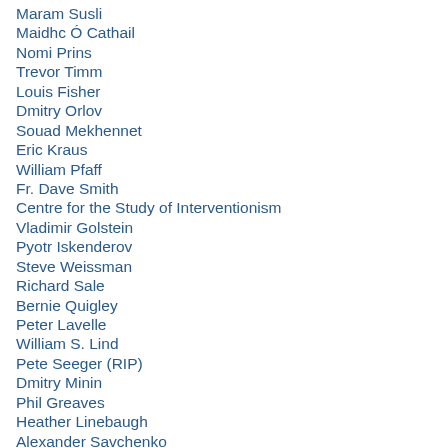Maram Susli
Maidhc Ó Cathail
Nomi Prins
Trevor Timm
Louis Fisher
Dmitry Orlov
Souad Mekhennet
Eric Kraus
William Pfaff
Fr. Dave Smith
Centre for the Study of Interventionism
Vladimir Golstein
Pyotr Iskenderov
Steve Weissman
Richard Sale
Bernie Quigley
Peter Lavelle
William S. Lind
Pete Seeger (RIP)
Dmitry Minin
Phil Greaves
Heather Linebaugh
Alexander Savchenko
Dr. Con Frimton